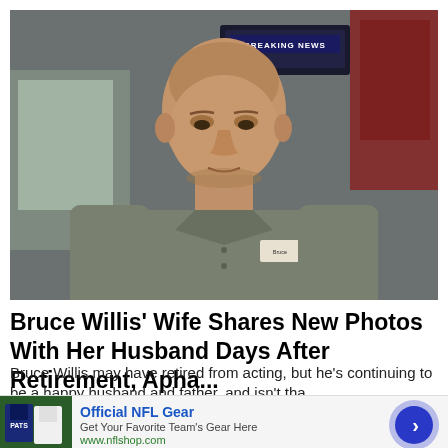[Figure (photo): A bald man wearing a gray button-up shirt with a name tag looks downward, standing inside what appears to be a diner or restaurant. A TV screen showing 'BREAKING NEWS' is visible in the background.]
Bruce Willis' Wife Shares New Photos With Her Husband Days After Retirement, Apha...
Bruce Willis may have retired from acting, but he's continuing to be a happy husband and father, and isn't tha...
[Figure (screenshot): Advertisement banner for Official NFL Gear showing NFL jerseys, with text 'Official NFL Gear', 'Get Your Favorite Team's Gear Here', 'www.nflshop.com', and a right-arrow button.]